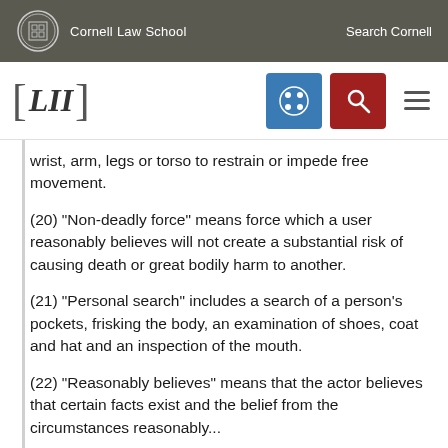Cornell Law School  Search Cornell
wrist, arm, legs or torso to restrain or impede free movement.
(20) "Non-deadly force" means force which a user reasonably believes will not create a substantial risk of causing death or great bodily harm to another.
(21) "Personal search" includes a search of a person's pockets, frisking the body, an examination of shoes, coat and hat and an inspection of the mouth.
(22) "Reasonably believes" means that the actor believes that certain facts exist and the belief from the circumstances reasonably...